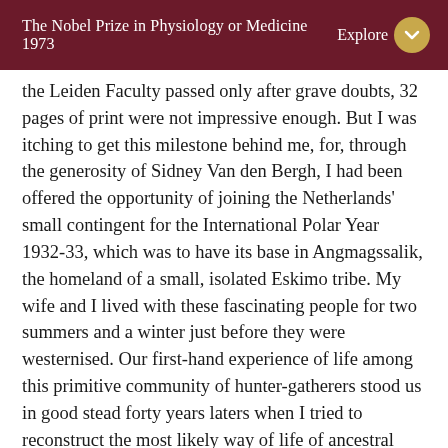The Nobel Prize in Physiology or Medicine 1973  Explore
the Leiden Faculty passed only after grave doubts, 32 pages of print were not impressive enough. But I was itching to get this milestone behind me, for, through the generosity of Sidney Van den Bergh, I had been offered the opportunity of joining the Netherlands' small contingent for the International Polar Year 1932-33, which was to have its base in Angmagssalik, the homeland of a small, isolated Eskimo tribe. My wife and I lived with these fascinating people for two summers and a winter just before they were westernised. Our first-hand experience of life among this primitive community of hunter-gatherers stood us in good stead forty years laters when I tried to reconstruct the most likely way of life of ancestral Man.
Upon our return to Holland, I was given a minor